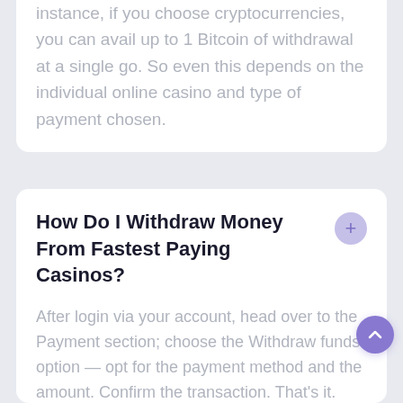instance, if you choose cryptocurrencies, you can avail up to 1 Bitcoin of withdrawal at a single go. So even this depends on the individual online casino and type of payment chosen.
How Do I Withdraw Money From Fastest Paying Casinos?
After login via your account, head over to the Payment section; choose the Withdraw funds option — opt for the payment method and the amount. Confirm the transaction. That's it.